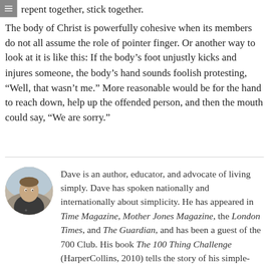repent together, stick together.
The body of Christ is powerfully cohesive when its members do not all assume the role of pointer finger. Or another way to look at it is like this: If the body's foot unjustly kicks and injures someone, the body's hand sounds foolish protesting, “Well, that wasn’t me.” More reasonable would be for the hand to reach down, help up the offended person, and then the mouth could say, “We are sorry.”
[Figure (photo): Circular portrait photo of a man wearing a dark t-shirt with a logo, standing outdoors]
Dave is an author, educator, and advocate of living simply. Dave has spoken nationally and internationally about simplicity. He has appeared in Time Magazine, Mother Jones Magazine, the London Times, and The Guardian, and has been a guest of the 700 Club. His book The 100 Thing Challenge (HarperCollins, 2010) tells the story of his simple-living journey and the worldwide movement it contributed